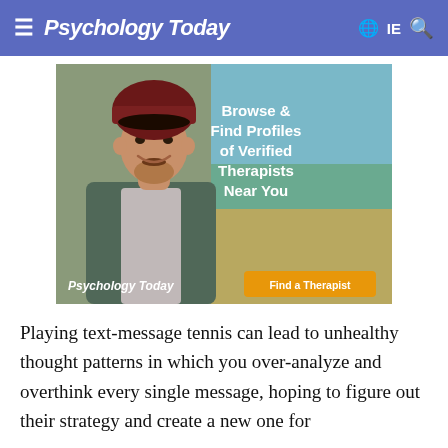Psychology Today  IE
[Figure (illustration): Psychology Today advertisement banner showing a smiling young man wearing a dark red beanie hat and a green jacket over a grey t-shirt, with text 'Browse & Find Profiles of Verified Therapists Near You', a 'Find a Therapist' orange button, and Psychology Today logo at bottom left.]
Playing text-message tennis can lead to unhealthy thought patterns in which you over-analyze and overthink every single message, hoping to figure out their strategy and create a new one for